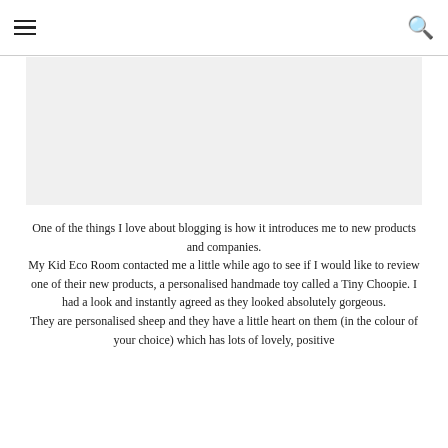☰ [menu icon] ... 🔍 [search icon]
[Figure (photo): Blank/placeholder image area at top of blog post]
One of the things I love about blogging is how it introduces me to new products and companies.
My Kid Eco Room contacted me a little while ago to see if I would like to review one of their new products, a personalised handmade toy called a Tiny Choopie. I had a look and instantly agreed as they looked absolutely gorgeous.
They are personalised sheep and they have a little heart on them (in the colour of your choice) which has lots of lovely, positive